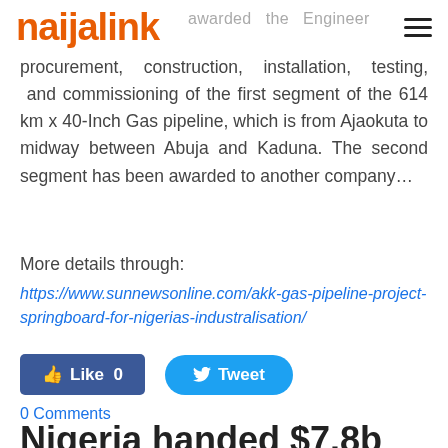naijalink
awarded the Engineering, procurement, construction, installation, testing, and commissioning of the first segment of the 614 km x 40-Inch Gas pipeline, which is from Ajaokuta to midway between Abuja and Kaduna. The second segment has been awarded to another company…
More details through:
https://www.sunnewsonline.com/akk-gas-pipeline-project-springboard-for-nigerias-industralisation/
[Figure (other): Like 0 and Tweet social sharing buttons]
0 Comments
Nigeria handed $7.8b...